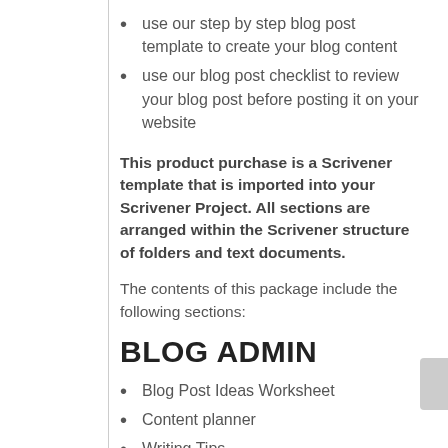use our step by step blog post template to create your blog content
use our blog post checklist to review your blog post before posting it on your website
This product purchase is a Scrivener template that is imported into your Scrivener Project. All sections are arranged within the Scrivener structure of folders and text documents.
The contents of this package include the following sections:
BLOG ADMIN
Blog Post Ideas Worksheet
Content planner
Writing Tips